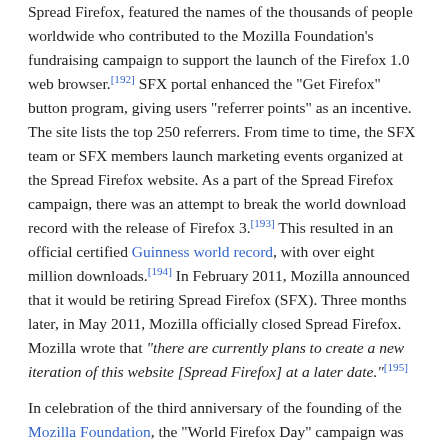Spread Firefox, featured the names of the thousands of people worldwide who contributed to the Mozilla Foundation's fundraising campaign to support the launch of the Firefox 1.0 web browser.[192] SFX portal enhanced the "Get Firefox" button program, giving users "referrer points" as an incentive. The site lists the top 250 referrers. From time to time, the SFX team or SFX members launch marketing events organized at the Spread Firefox website. As a part of the Spread Firefox campaign, there was an attempt to break the world download record with the release of Firefox 3.[193] This resulted in an official certified Guinness world record, with over eight million downloads.[194] In February 2011, Mozilla announced that it would be retiring Spread Firefox (SFX). Three months later, in May 2011, Mozilla officially closed Spread Firefox. Mozilla wrote that "there are currently plans to create a new iteration of this website [Spread Firefox] at a later date."[195]
In celebration of the third anniversary of the founding of the Mozilla Foundation, the "World Firefox Day" campaign was established on July 15, 2006,[196][197] and ran until September 15, 2006.[198] Participants registered themselves and a friend on the website for nomination to have their names displayed on the Firefox Friends...